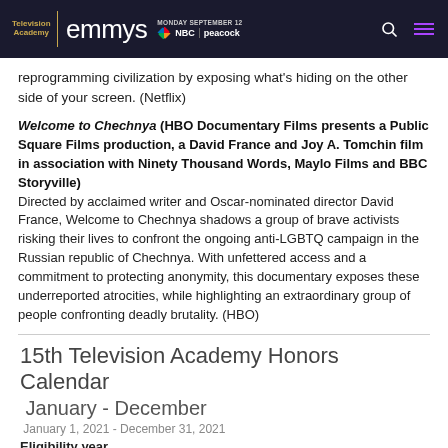Television Academy emmys MONDAY SEPTEMBER 12 NBC | peacock
reprogramming civilization by exposing what's hiding on the other side of your screen. (Netflix)
Welcome to Chechnya (HBO Documentary Films presents a Public Square Films production, a David France and Joy A. Tomchin film in association with Ninety Thousand Words, Maylo Films and BBC Storyville)
Directed by acclaimed writer and Oscar-nominated director David France, Welcome to Chechnya shadows a group of brave activists risking their lives to confront the ongoing anti-LGBTQ campaign in the Russian republic of Chechnya. With unfettered access and a commitment to protecting anonymity, this documentary exposes these underreported atrocities, while highlighting an extraordinary group of people confronting deadly brutality. (HBO)
15th Television Academy Honors Calendar
January - December
January 1, 2021 - December 31, 2021
Eligibility year
January